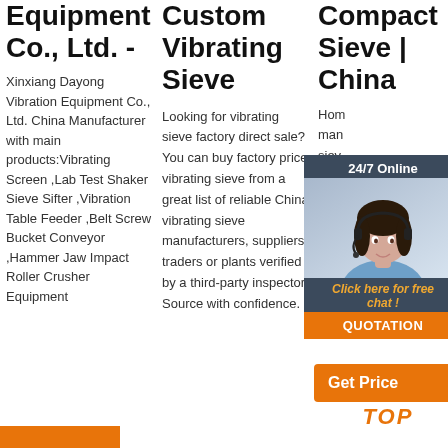Equipment Co., Ltd. -
Xinxiang Dayong Vibration Equipment Co., Ltd. China Manufacturer with main products:Vibrating Screen ,Lab Test Shaker Sieve Sifter ,Vibration Table Feeder ,Belt Screw Bucket Conveyor ,Hammer Jaw Impact Roller Crusher Equipment
Custom Vibrating Sieve
Looking for vibrating sieve factory direct sale? You can buy factory price vibrating sieve from a great list of reliable China vibrating sieve manufacturers, suppliers, traders or plants verified by a third-party inspector. Source with confidence.
Compact Sieve | China
Hom man siev we s type and mac cou
[Figure (photo): Chat widget with woman wearing headset, '24/7 Online' header, 'Click here for free chat!' link, and orange QUOTATION button]
[Figure (infographic): Orange 'Get Price' button with dots pattern and 'TOP' text in orange below]